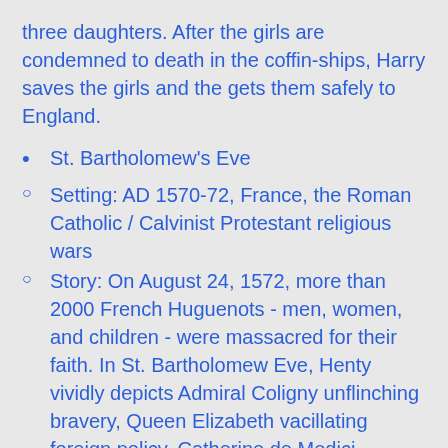three daughters. After the girls are condemned to death in the coffin-ships, Harry saves the girls and the gets them safely to England.
St. Bartholomew's Eve
Setting: AD 1570-72, France, the Roman Catholic / Calvinist Protestant religious wars
Story: On August 24, 1572, more than 2000 French Huguenots - men, women, and children - were massacred for their faith. In St. Bartholomew Eve, Henty vividly depicts Admiral Coligny unflinching bravery, Queen Elizabeth vacillating foreign policy, Catherine de Medici vindictive scheming, and the Queen of Navarre inner strength as he recounts the adventures of Phillip Fletcher, son of an Englishman and a Frenchwoman, who journeys to France to take part in the Huguenots struggle for freedom. He and his band of soldiers see much combat, and